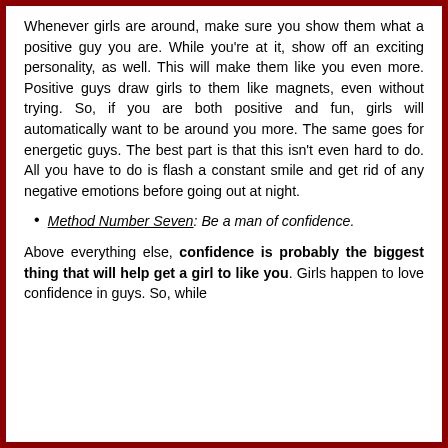Whenever girls are around, make sure you show them what a positive guy you are. While you're at it, show off an exciting personality, as well. This will make them like you even more. Positive guys draw girls to them like magnets, even without trying. So, if you are both positive and fun, girls will automatically want to be around you more. The same goes for energetic guys. The best part is that this isn't even hard to do. All you have to do is flash a constant smile and get rid of any negative emotions before going out at night.
Method Number Seven: Be a man of confidence.
Above everything else, confidence is probably the biggest thing that will help get a girl to like you. Girls happen to love confidence in guys. So, while